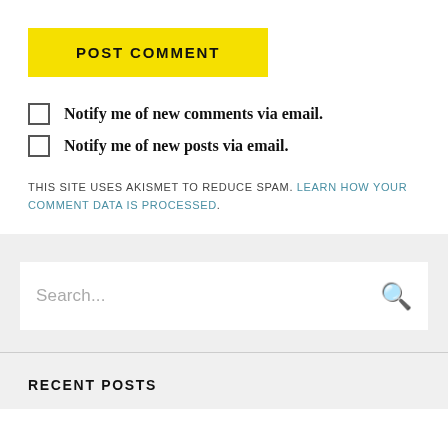POST COMMENT
Notify me of new comments via email.
Notify me of new posts via email.
THIS SITE USES AKISMET TO REDUCE SPAM. LEARN HOW YOUR COMMENT DATA IS PROCESSED.
Search...
RECENT POSTS